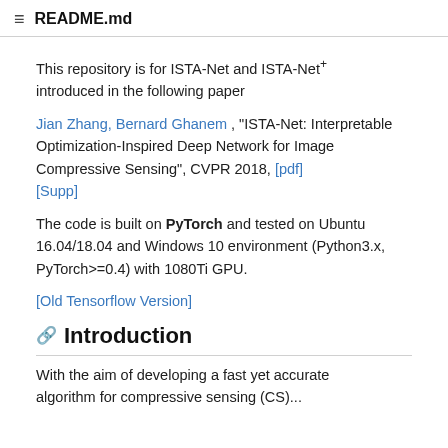≡  README.md
This repository is for ISTA-Net and ISTA-Net⁺ introduced in the following paper
Jian Zhang, Bernard Ghanem , "ISTA-Net: Interpretable Optimization-Inspired Deep Network for Image Compressive Sensing", CVPR 2018, [pdf] [Supp]
The code is built on PyTorch and tested on Ubuntu 16.04/18.04 and Windows 10 environment (Python3.x, PyTorch>=0.4) with 1080Ti GPU.
[Old Tensorflow Version]
Introduction
With the aim of developing a fast yet accurate algorithm for compressive sensing (CS)...